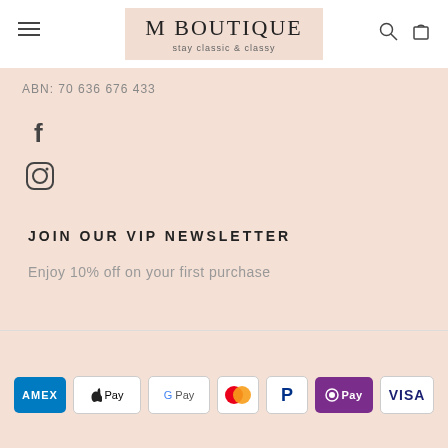M Boutique — stay classic & classy
ABN: 70 636 676 433
[Figure (logo): Facebook icon]
[Figure (logo): Instagram icon]
JOIN OUR VIP NEWSLETTER
Enjoy 10% off on your first purchase
[Figure (infographic): Payment method logos: American Express, Apple Pay, Google Pay, Mastercard, PayPal, OPay, Visa]